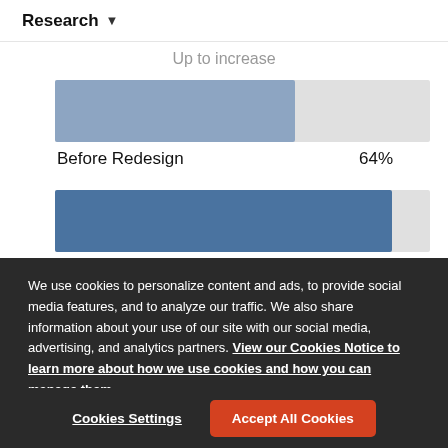Research ▾
[Figure (bar-chart): Up to increase]
Before Redesign
64%
We use cookies to personalize content and ads, to provide social media features, and to analyze our traffic. We also share information about your use of our site with our social media, advertising, and analytics partners. View our Cookies Notice to learn more about how we use cookies and how you can manage them.
Cookies Settings
Accept All Cookies